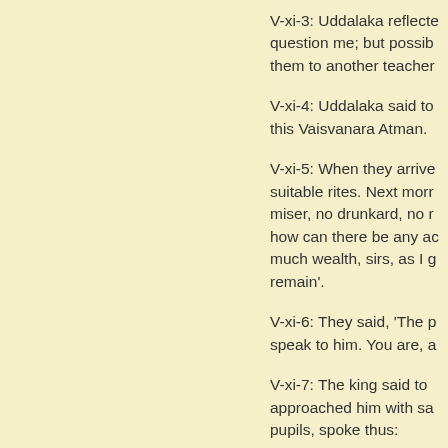V-xi-3: Uddalaka reflected: question me; but possibly them to another teacher
V-xi-4: Uddalaka said to this Vaisvanara Atman.
V-xi-5: When they arrived suitable rites. Next morning miser, no drunkard, no n how can there be any ac much wealth, sirs, as I g remain'.
V-xi-6: They said, 'The p speak to him. You are, a
V-xi-7: The king said to approached him with sa pupils, spoke thus: